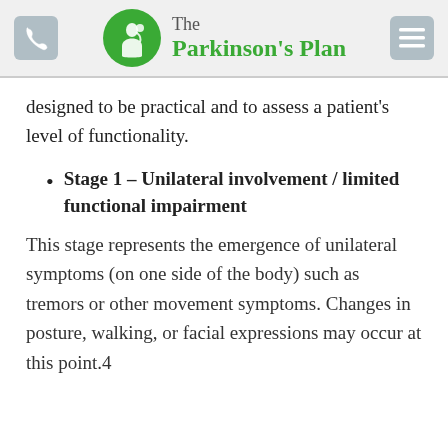The Parkinson's Plan
designed to be practical and to assess a patient's level of functionality.
Stage 1 – Unilateral involvement / limited functional impairment
This stage represents the emergence of unilateral symptoms (on one side of the body) such as tremors or other movement symptoms. Changes in posture, walking, or facial expressions may occur at this point.4